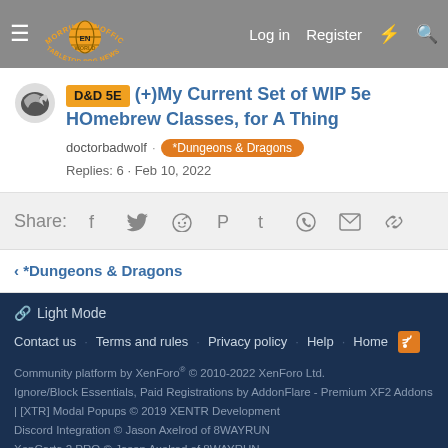Morrus' Unofficial Tabletop RPG News — Log in  Register
D&D 5E  (+)My Current Set of WIP 5e HOmebrew Classes, for A Thing
doctorbadwolf · *Dungeons & Dragons
Replies: 6 · Feb 10, 2022
Share:
< *Dungeons & Dragons
🔗 Light Mode
Contact us  Terms and rules  Privacy policy  Help  Home
Community platform by XenForo® © 2010-2022 XenForo Ltd.
Ignore/Block Essentials, Paid Registrations by AddonFlare - Premium XF2 Addons | [XTR] Modal Popups © 2019 XENTR Development
Discord Integration © Jason Axelrod of 8WAYRUN
XenCarta 2 PRO © Jason Axelrod of 8WAYRUN